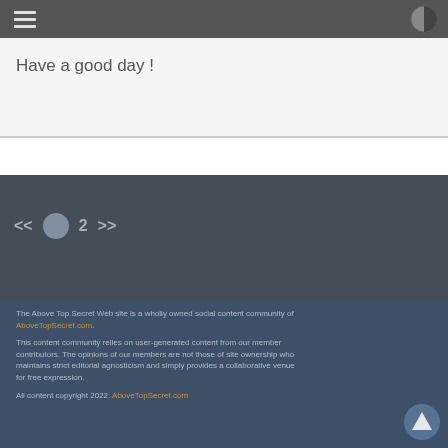Navigation bar with hamburger menu and contrast toggle
Have a good day !
<< • 2 >>
The Above Top Secret Web site is a wholly owned social content community of AboveTopSecret.com. This content community relies on user-generated content from our member contributors. The opinions of our members are not those of site ownership who maintains strict editorial agnosticism and simply provides a collaborative venue for free expression. All content copyright 2022. AboveTopSecret.com